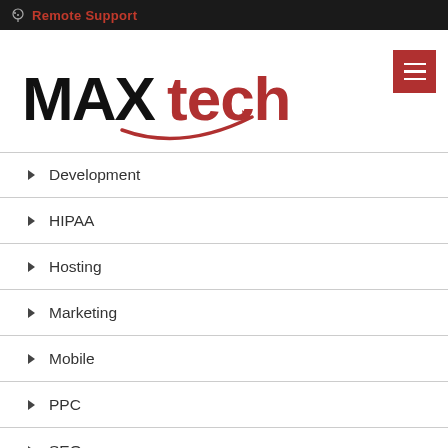Remote Support
[Figure (logo): MAXtech logo with red arrow swoosh]
Development
HIPAA
Hosting
Marketing
Mobile
PPC
SEO
Social Media
Video